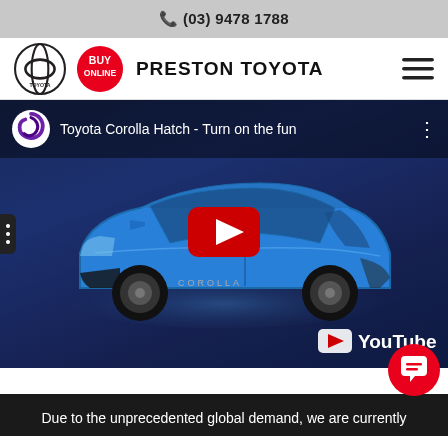📞 (03) 9478 1788
[Figure (logo): Toyota logo and dealer navigation bar with BUY ONLINE badge and PRESTON TOYOTA name]
[Figure (screenshot): YouTube video thumbnail showing Toyota Corolla Hatch - Turn on the fun, with blue Corolla car and red play button]
Due to the unprecedented global demand, we are currently